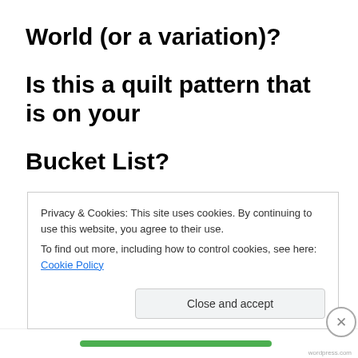World (or a variation)?
Is this a quilt pattern that is on your
Bucket List?
[Figure (photo): Partial view of what appears to be thread spools or sewing/quilting product packaging with text '99' and 'INVIS' visible, in black, blue, and red colors]
Privacy & Cookies: This site uses cookies. By continuing to use this website, you agree to their use.
To find out more, including how to control cookies, see here: Cookie Policy